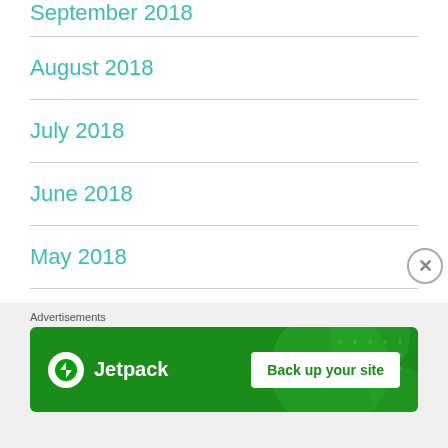September 2018
August 2018
July 2018
June 2018
May 2018
April 2018
March 2018
[Figure (screenshot): Jetpack advertisement banner with 'Back up your site' button on green background]
Advertisements